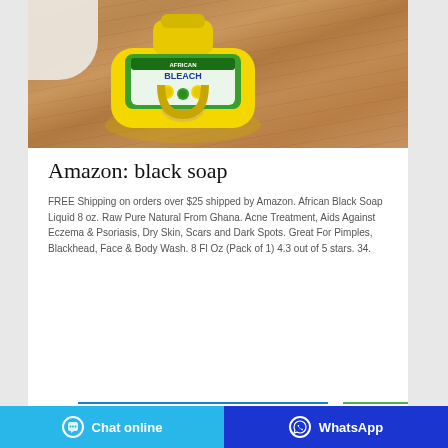[Figure (photo): A yellow bottle of African Black Soap Liquid lying on a wooden table surface, with white cloth visible in the top-left corner.]
Amazon: black soap
FREE Shipping on orders over $25 shipped by Amazon. African Black Soap Liquid 8 oz. Raw Pure Natural From Ghana. Acne Treatment, Aids Against Eczema & Psoriasis, Dry Skin, Scars and Dark Spots. Great For Pimples, Blackhead, Face & Body Wash. 8 Fl Oz (Pack of 1) 4.3 out of 5 stars. 34.
Chat online | WhatsApp